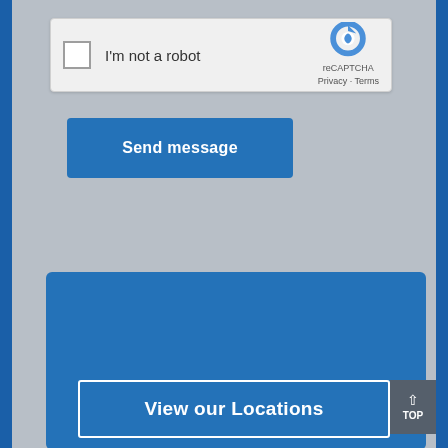[Figure (screenshot): reCAPTCHA widget with checkbox 'I'm not a robot' and reCAPTCHA logo with Privacy - Terms links]
[Figure (screenshot): Blue 'Send message' button]
[Figure (screenshot): Blue footer section with 'View our Locations' button outline]
View our Locations
TOP